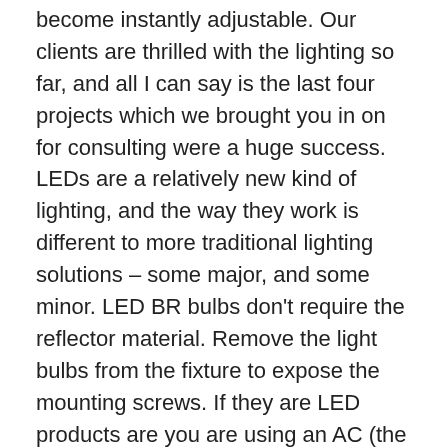become instantly adjustable. Our clients are thrilled with the lighting so far, and all I can say is the last four projects which we brought you in on for consulting were a huge success. LEDs are a relatively new kind of lighting, and the way they work is different to more traditional lighting solutions – some major, and some minor. LED BR bulbs don't require the reflector material. Remove the light bulbs from the fixture to expose the mounting screws. If they are LED products are you are using an AC (the Malibu transformer is AC) transformer you MUST use the VA number when sizing the transformer and the wire. If people can get into that pond of yours, I would recommend using a pool and spa rated transformer and fixtures that are also rated for pool and spa use. My transformer is a clock timer as well and I have it set at time a and goes off at time b. It is a simple set up… 10 landscape lights. An LED light bulb with an equivalent wattage of 35W is a direct